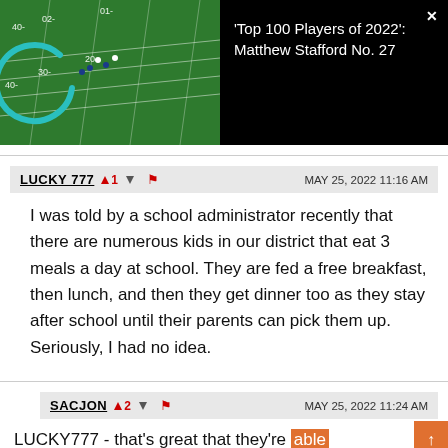[Figure (screenshot): Football game aerial video thumbnail showing a green field with yard markers and a teal circular loading/play indicator overlay. Black background with white X close button.]
'Top 100 Players of 2022': Matthew Stafford No. 27
LUCKY 777  ^1  v  [flag]  MAY 25, 2022 11:16 AM
I was told by a school administrator recently that there are numerous kids in our district that eat 3 meals a day at school. They are fed a free breakfast, then lunch, and then they get dinner too as they stay after school until their parents can pick them up. Seriously, I had no idea.
SACJON  ^2  v  [flag]  MAY 25, 2022 11:24 AM
LUCKY777 - that's great that they're able